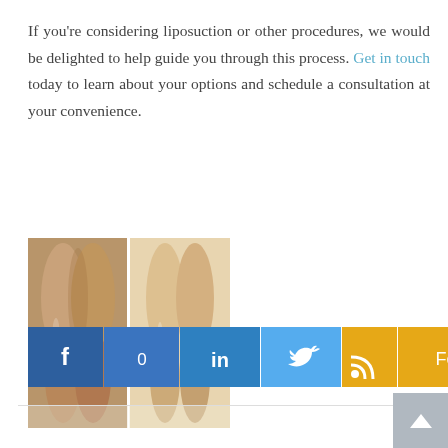If you're considering liposuction or other procedures, we would be delighted to help guide you through this process. Get in touch today to learn about your options and schedule a consultation at your convenience.
[Figure (photo): Before and after photo of legs showing results after liposuction procedure, split into two side-by-side panels.]
[Figure (infographic): Social sharing bar with Facebook (f, 0), LinkedIn (in), Twitter bird icon, and Feed (RSS + Feed) buttons in blue and gold colors.]